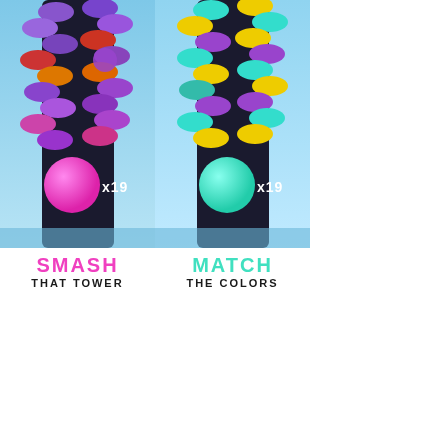[Figure (screenshot): Two side-by-side game screenshots of a tower-smashing mobile game. Left panel: colorful tower with purple, red, orange blocks and a pink ball labeled x19. Right panel: colorful tower with teal, yellow, purple blocks and a teal ball labeled x19.]
SMASH THAT TOWER
MATCH THE COLORS